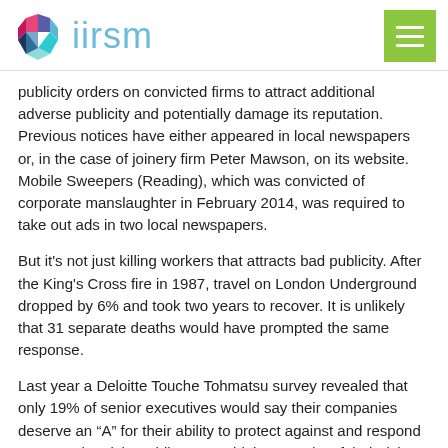iirsm
publicity orders on convicted firms to attract additional adverse publicity and potentially damage its reputation. Previous notices have either appeared in local newspapers or, in the case of joinery firm Peter Mawson, on its website. Mobile Sweepers (Reading), which was convicted of corporate manslaughter in February 2014, was required to take out ads in two local newspapers.
But it's not just killing workers that attracts bad publicity. After the King's Cross fire in 1987, travel on London Underground dropped by 6% and took two years to recover. It is unlikely that 31 separate deaths would have prompted the same response.
Last year a Deloitte Touche Tohmatsu survey revealed that only 19% of senior executives would say their companies deserve an “A” for their ability to protect against and respond to reputation risks, while 39% said the maturity of their risk strategy was average or below